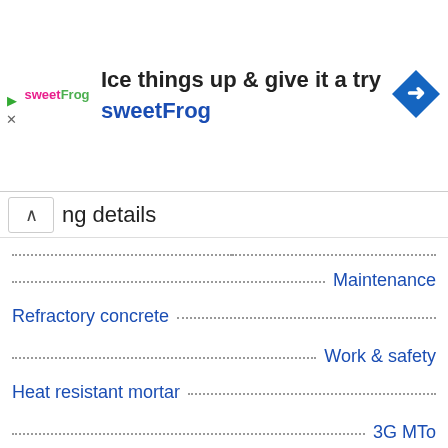[Figure (other): SweetFrog advertisement banner with logo, headline 'Ice things up & give it a try', brand name 'sweetFrog', and navigation arrow icon]
ng details
Maintenance
Refractory concrete
Work & safety
Heat resistant mortar
3G MTo
Concrete cladding layer
Food additives
Thermal insulation
Healthy Papaya
Fire-bricks